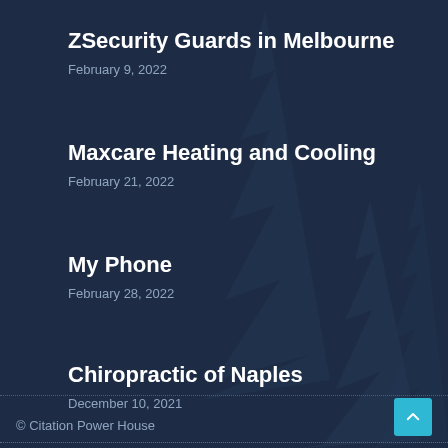ZSecurity Guards in Melbourne
February 9, 2022
Maxcare Heating and Cooling
February 21, 2022
My Phone
February 28, 2022
Chiropractic of Naples
December 10, 2021
© Citation Power House